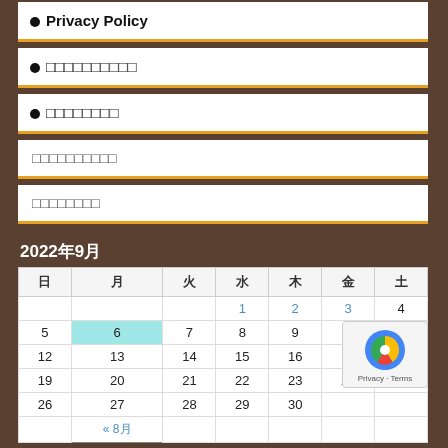• Privacy Policy
• □□□□□□□□□□
• □□□□□□□□
□□□□□□□□□□
□□□□□□□□
2022年9月
| 日 | 月 | 火 | 水 | 木 | 金 | 土 |
| --- | --- | --- | --- | --- | --- | --- |
|  |  |  | 1 | 2 | 3 | 4 |
| 5 | 6 | 7 | 8 | 9 | 10 | 11 |
| 12 | 13 | 14 | 15 | 16 | 17 | 18 |
| 19 | 20 | 21 | 22 | 23 | 24 | 25 |
| 26 | 27 | 28 | 29 | 30 |  |  |
|  | « 8月 |  |  |  |  |  |
メタ情報
サイト閲覧数: 140